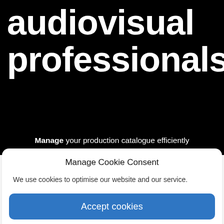audiovisual professionals.
Manage your production catalogue efficiently
Manage Cookie Consent
We use cookies to optimise our website and our service.
Accept cookies
Deny
View preferences